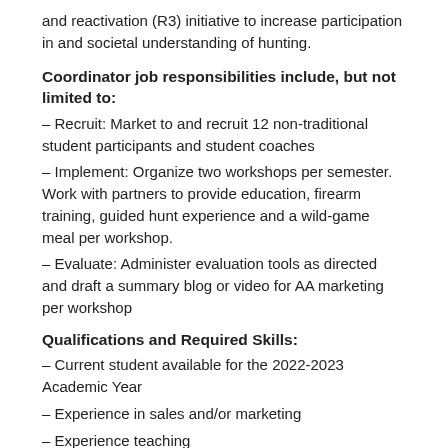and reactivation (R3) initiative to increase participation in and societal understanding of hunting.
Coordinator job responsibilities include, but not limited to:
– Recruit: Market to and recruit 12 non-traditional student participants and student coaches
– Implement: Organize two workshops per semester. Work with partners to provide education, firearm training, guided hunt experience and a wild-game meal per workshop.
– Evaluate: Administer evaluation tools as directed and draft a summary blog or video for AA marketing per workshop
Qualifications and Required Skills:
– Current student available for the 2022-2023 Academic Year
– Experience in sales and/or marketing
– Experience teaching